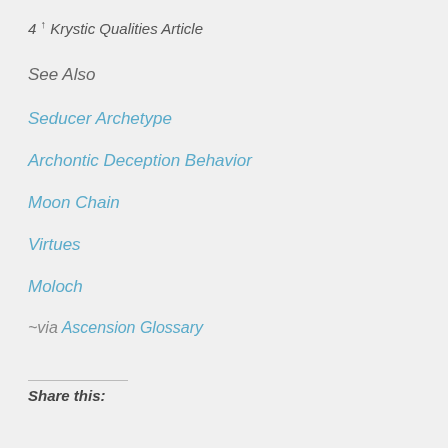4 ↑ Krystic Qualities Article
See Also
Seducer Archetype
Archontic Deception Behavior
Moon Chain
Virtues
Moloch
~via Ascension Glossary
Share this: